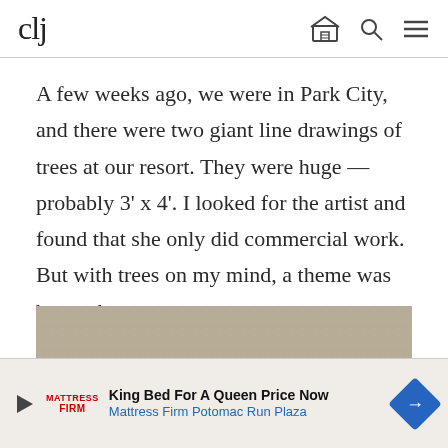clj
A few weeks ago, we were in Park City, and there were two giant line drawings of trees at our resort. They were huge — probably 3' x 4'. I looked for the artist and found that she only did commercial work. But with trees on my mind, a theme was born: abstract nature.
[Figure (photo): Textured fabric or wallpaper background in beige/tan color with subtle circular pattern]
King Bed For A Queen Price Now
Mattress Firm Potomac Run Plaza